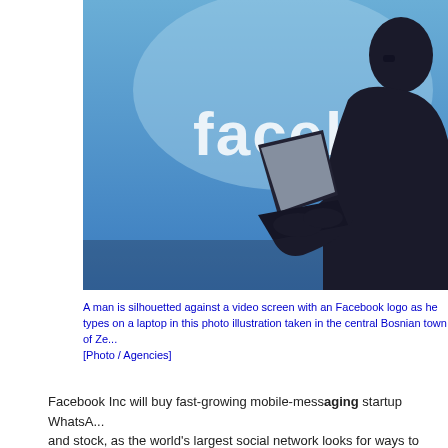[Figure (photo): A man silhouetted against a blue video screen displaying the Facebook logo, holding a laptop. Photo taken in the central Bosnian town of Zenica.]
A man is silhouetted against a video screen with an Facebook logo as he types on a laptop in this photo illustration taken in the central Bosnian town of Zenica. [Photo / Agencies]
Facebook Inc will buy fast-growing mobile-messaging startup WhatsA... and stock, as the world's largest social network looks for ways to boo...